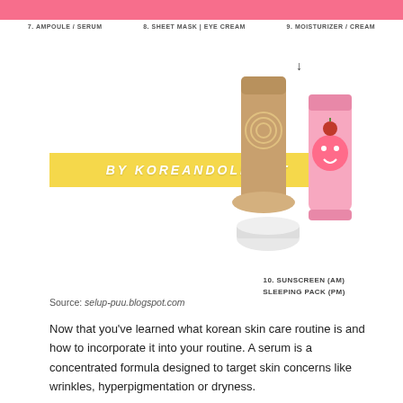[Figure (infographic): Top portion of Korean 10-step skincare routine infographic showing step labels 7. Ampoule/Serum, 8. Sheet Mask | Eye Cream, 9. Moisturizer/Cream with a pink banner at top and product images, a yellow banner reading BY KOREANDOLL.NET, and Step 10 Sunscreen (AM) Sleeping Pack (PM) with product images]
7. AMPOULE / SERUM    8. SHEET MASK | EYE CREAM    9. MOISTURIZER / CREAM
10. SUNSCREEN (AM) SLEEPING PACK (PM)
Source: selup-puu.blogspot.com
Now that you've learned what korean skin care routine is and how to incorporate it into your routine. A serum is a concentrated formula designed to target skin concerns like wrinkles, hyperpigmentation or dryness.
[Figure (infographic): Korean 10-Step Skincare Routine title in green italic script font]
[Figure (infographic): Bottom infographic row showing step 1 with WATER BASED label and step 3 with TONER / HYDRATING label with green circle numbers]